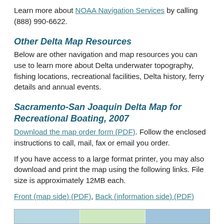Learn more about NOAA Navigation Services by calling (888) 990-6622.
Other Delta Map Resources
Below are other navigation and map resources you can use to learn more about Delta underwater topography, fishing locations, recreational facilities, Delta history, ferry details and annual events.
Sacramento-San Joaquin Delta Map for Recreational Boating, 2007
Download the map order form (PDF). Follow the enclosed instructions to call, mail, fax or email you order.
If you have access to a large format printer, you may also download and print the map using the following links. File size is approximately 12MB each.
Front (map side) (PDF), Back (information side) (PDF)
[Figure (photo): Bottom strip showing partial map or image thumbnails]